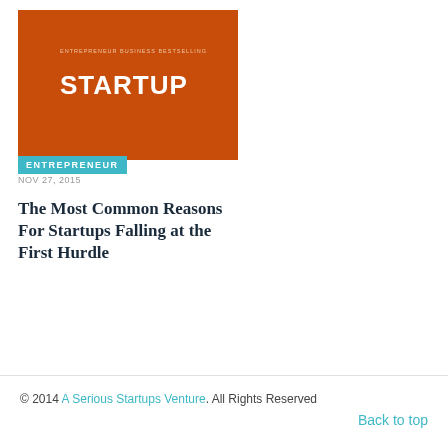[Figure (illustration): Orange/burnt-orange book or magazine cover with white bold text 'STARTUP' and small subtitle text above it, with a teal 'ENTREPRENEUR' badge in the lower left corner]
NOV 27, 2015
The Most Common Reasons For Startups Falling at the First Hurdle
© 2014 A Serious Startups Venture. All Rights Reserved   Back to top